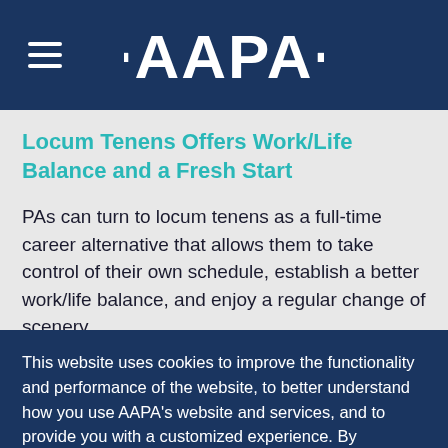AAPA
Locum Tenens Offers Work/Life Balance and a Fresh Start
PAs can turn to locum tenens as a full-time career alternative that allows them to take control of their own schedule, establish a better work/life balance, and enjoy a regular change of scenery.
This website uses cookies to improve the functionality and performance of the website, to better understand how you use AAPA's website and services, and to provide you with a customized experience. By continuing your use of this website, you consent to this use of cookies. See our Privacy Policy for more information.